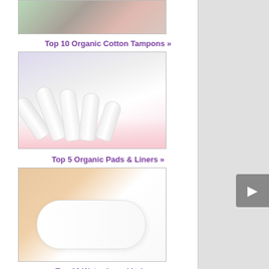[Figure (photo): Top portion of a photo showing organic/natural products with stones and mesh fabric, partially cropped at the top]
Top 10 Organic Cotton Tampons »
[Figure (photo): Photo of multiple white tampons arranged on a pink background with pink fabric]
Top 5 Organic Pads & Liners »
[Figure (photo): Photo of hands holding a white sanitary pad]
Top 10 Water-based Lubes »
[Figure (photo): Partial view of a photo for the Water-based Lubes section, cropped at bottom]